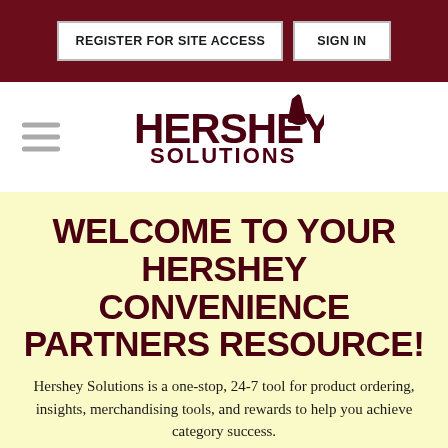REGISTER FOR SITE ACCESS | SIGN IN
[Figure (logo): Hershey Solutions logo with Hershey's Kiss icon]
WELCOME TO YOUR HERSHEY CONVENIENCE PARTNERS RESOURCE!
Hershey Solutions is a one-stop, 24-7 tool for product ordering, insights, merchandising tools, and rewards to help you achieve category success.